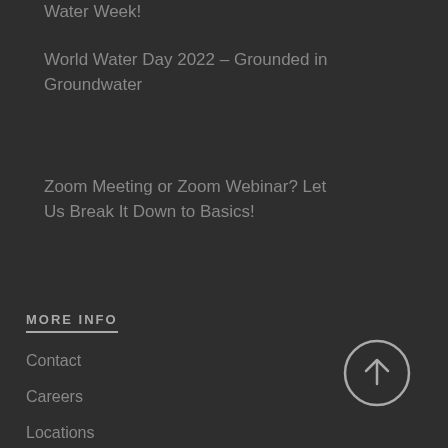Water Week!
World Water Day 2022 – Grounded in Groundwater
Zoom Meeting or Zoom Webinar? Let Us Break It Down to Basics!
MORE INFO
Contact
Careers
Locations